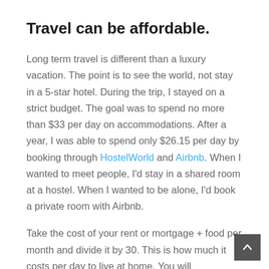Travel can be affordable.
Long term travel is different than a luxury vacation. The point is to see the world, not stay in a 5-star hotel. During the trip, I stayed on a strict budget. The goal was to spend no more than $33 per day on accommodations. After a year, I was able to spend only $26.15 per day by booking through HostelWorld and Airbnb. When I wanted to meet people, I'd stay in a shared room at a hostel. When I wanted to be alone, I'd book a private room with Airbnb.
Take the cost of your rent or mortgage + food per month and divide it by 30. This is how much it costs per day to live at home. You will